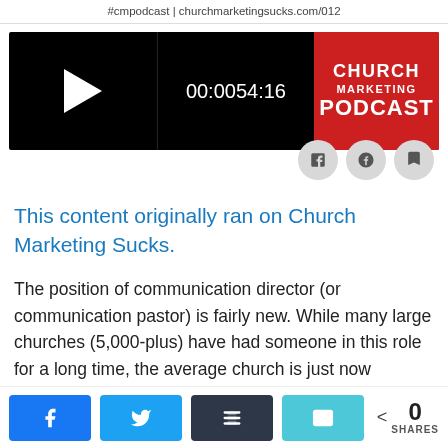#cmpodcast | churchmarketingsucks.com/012
[Figure (screenshot): Podcast audio player with play button, time 00:00 / 54:16, and Church Marketing Podcast logo in red on the right]
This content originally ran on Church Marketing Sucks.
The position of communication director (or communication pastor) is fairly new. While many large churches (5,000-plus) have had someone in this role for a long time, the average church is just now discovering the need for someone to ask strategic questions about how their information is
0 SHARES